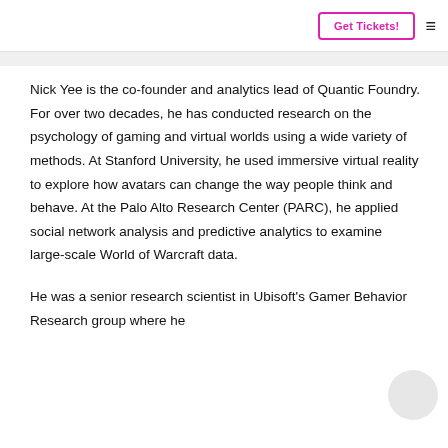Get Tickets!
Nick Yee is the co-founder and analytics lead of Quantic Foundry. For over two decades, he has conducted research on the psychology of gaming and virtual worlds using a wide variety of methods. At Stanford University, he used immersive virtual reality to explore how avatars can change the way people think and behave. At the Palo Alto Research Center (PARC), he applied social network analysis and predictive analytics to examine large-scale World of Warcraft data.
He was a senior research scientist in Ubisoft's Gamer Behavior Research group where he